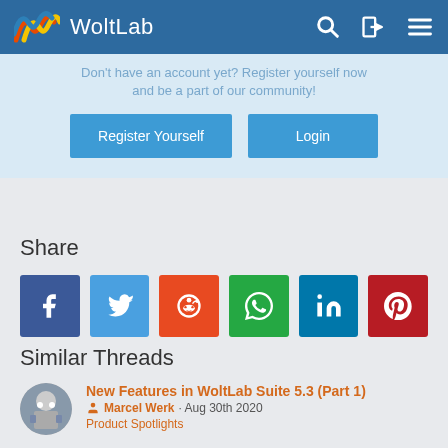WoltLab
Don't have an account yet? Register yourself now and be a part of our community!
Register Yourself | Login
Share
[Figure (infographic): Social share buttons: Facebook, Twitter, Reddit, WhatsApp, LinkedIn, Pinterest]
Similar Threads
New Features in WoltLab Suite 5.3 (Part 1) · Marcel Werk · Aug 30th 2020 · Product Spotlights